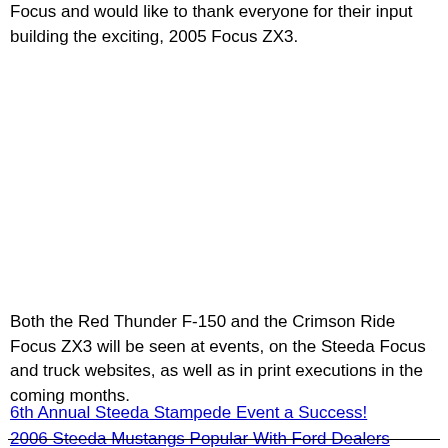Focus and would like to thank everyone for their input building the exciting, 2005 Focus ZX3.
Both the Red Thunder F-150 and the Crimson Ride Focus ZX3 will be seen at events, on the Steeda Focus and truck websites, as well as in print executions in the coming months.
6th Annual Steeda Stampede Event a Success!
2006 Steeda Mustangs Popular With Ford Dealers